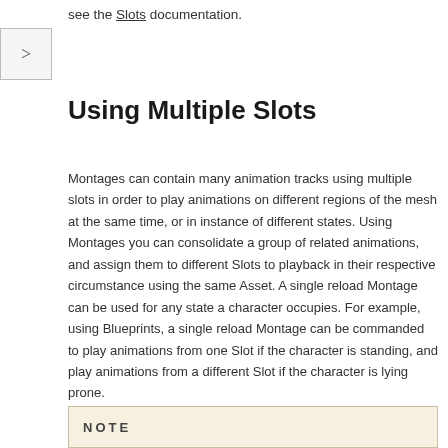see the Slots documentation.
Using Multiple Slots
Montages can contain many animation tracks using multiple slots in order to play animations on different regions of the mesh at the same time, or in instance of different states. Using Montages you can consolidate a group of related animations, and assign them to different Slots to playback in their respective circumstance using the same Asset. A single reload Montage can be used for any state a character occupies. For example, using Blueprints, a single reload Montage can be commanded to play animations from one Slot if the character is standing, and play animations from a different Slot if the character is lying prone.
NOTE